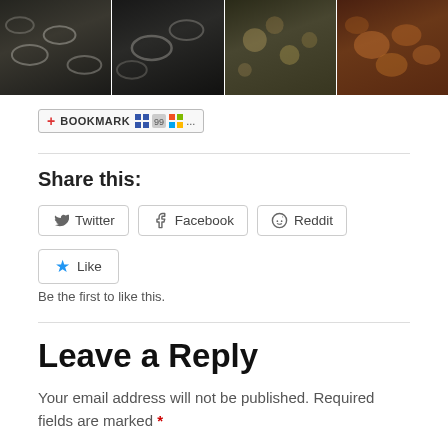[Figure (photo): Four food photos in a horizontal strip showing cooked shrimp/seafood dishes]
[Figure (screenshot): Bookmark toolbar with icons: red plus BOOKMARK icon, delicious, digg, windows flag, and ellipsis]
Share this:
[Figure (screenshot): Three share buttons: Twitter, Facebook, Reddit with icons]
[Figure (screenshot): Like button with blue star icon]
Be the first to like this.
Leave a Reply
Your email address will not be published. Required fields are marked *